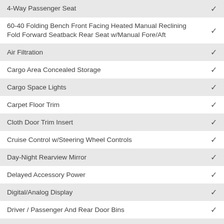4-Way Passenger Seat ✓
60-40 Folding Bench Front Facing Heated Manual Reclining Fold Forward Seatback Rear Seat w/Manual Fore/Aft ✓
Air Filtration ✓
Cargo Area Concealed Storage ✓
Cargo Space Lights ✓
Carpet Floor Trim ✓
Cloth Door Trim Insert ✓
Cruise Control w/Steering Wheel Controls ✓
Day-Night Rearview Mirror ✓
Delayed Accessory Power ✓
Digital/Analog Display ✓
Driver / Passenger And Rear Door Bins ✓
Driver And Passenger Visor Vanity Mirrors w/Driver And Passenger Illumination ✓
Driver Foot Rest ✓